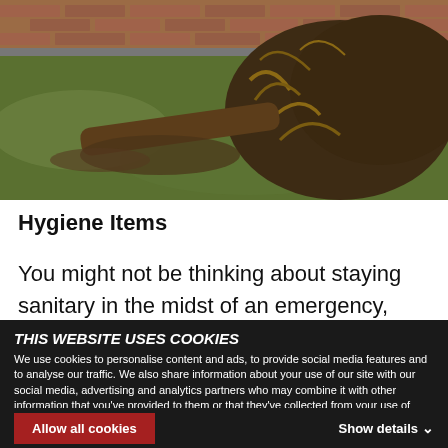[Figure (photo): A large fallen tree with exposed roots and soil visible, lying on green grass with a brick wall and fence in the background — storm or flood damage scene.]
Hygiene Items
You might not be thinking about staying sanitary in the midst of an emergency, such as a flood, but
THIS WEBSITE USES COOKIES
We use cookies to personalise content and ads, to provide social media features and to analyse our traffic. We also share information about your use of our site with our social media, advertising and analytics partners who may combine it with other information that you've provided to them or that they've collected from your use of their services. You consent to our cookies if you continue to use our website.
Allow all cookies
Show details